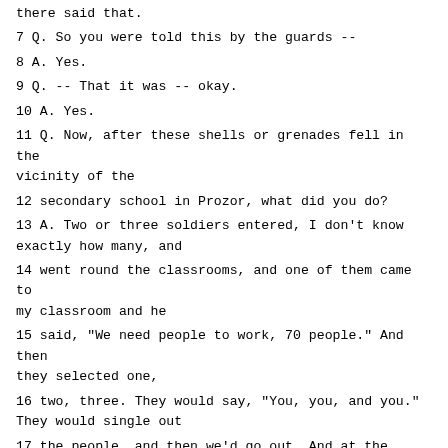there said that.
7 Q. So you were told this by the guards --
8 A. Yes.
9 Q. -- That it was -- okay.
10 A. Yes.
11 Q. Now, after these shells or grenades fell in the vicinity of the
12 secondary school in Prozor, what did you do?
13 A. Two or three soldiers entered, I don't know exactly how many, and
14 went round the classrooms, and one of them came to my classroom and he
15 said, "We need people to work, 70 people." And then they selected one,
16 two, three. They would say, "You, you, and you." They would single out
17 the people, and then we'd go out. And at the entrance to the school, at
18 the gate there, there was a man who made a list.